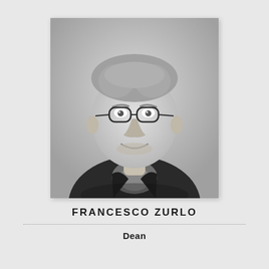[Figure (photo): Black and white professional headshot of Francesco Zurlo, a middle-aged man with short gray hair wearing round glasses and a dark blazer over a plaid shirt, smiling.]
FRANCESCO ZURLO
Dean